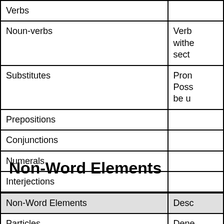|  |  |
| --- | --- |
| Verbs |  |
| Noun-verbs | Verb
withe
sect |
| Substitutes | Pron
Poss
be u |
| Prepositions |  |
| Conjunctions |  |
| Numerals |  |
| Interjections |  |
| Idioms | Wor |
Non-Word Elements
| Non-Word Elements | Desc |
| --- | --- |
| Particles | Dene
whe |